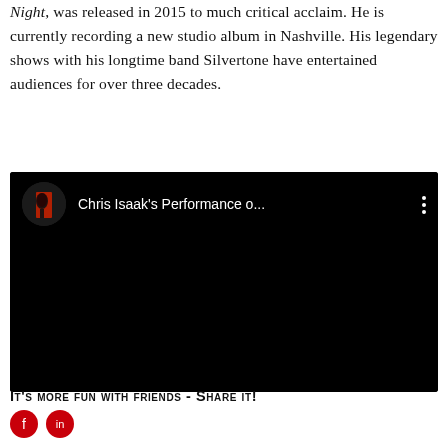Night, was released in 2015 to much critical acclaim. He is currently recording a new studio album in Nashville. His legendary shows with his longtime band Silvertone have entertained audiences for over three decades.
[Figure (screenshot): YouTube video embed showing a dark thumbnail with a silhouette of a person, titled 'Chris Isaak's Performance o...' with a three-dot menu icon on the right.]
It's more fun with friends - Share it!